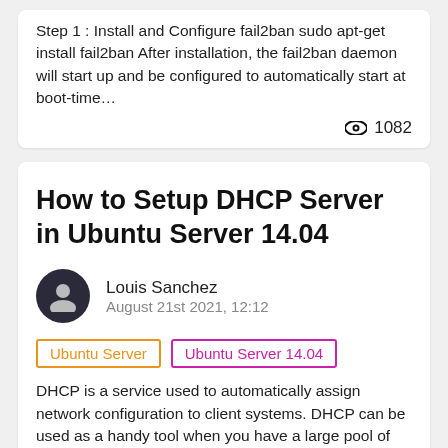Step 1 : Install and Configure fail2ban sudo apt-get install fail2ban After installation, the fail2ban daemon will start up and be configured to automatically start at boot-time…
👁 1082
How to Setup DHCP Server in Ubuntu Server 14.04
Louis Sanchez
August 21st 2021, 12:12
Ubuntu Server
Ubuntu Server 14.04
DHCP is a service used to automatically assign network configuration to client systems. DHCP can be used as a handy tool when you have a large pool of systems that…